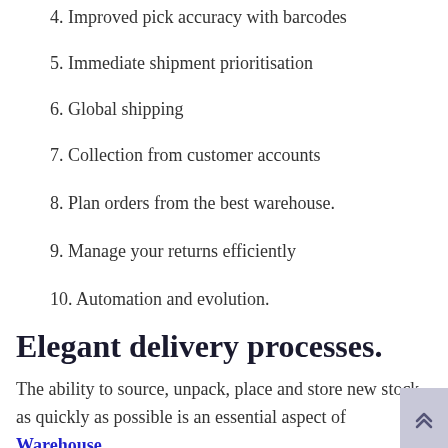4. Improved pick accuracy with barcodes
5. Immediate shipment prioritisation
6. Global shipping
7. Collection from customer accounts
8. Plan orders from the best warehouse.
9. Manage your returns efficiently
10. Automation and evolution.
Elegant delivery processes.
The ability to source, unpack, place and store new stock as quickly as possible is an essential aspect of Warehouse Management System for Small Bus...